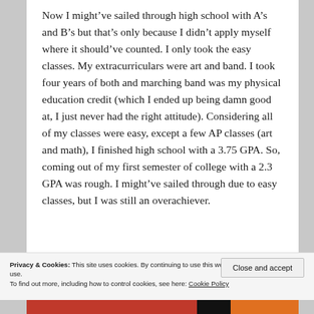Now I might've sailed through high school with A's and B's but that's only because I didn't apply myself where it should've counted. I only took the easy classes. My extracurriculars were art and band. I took four years of both and marching band was my physical education credit (which I ended up being damn good at, I just never had the right attitude). Considering all of my classes were easy, except a few AP classes (art and math), I finished high school with a 3.75 GPA. So, coming out of my first semester of college with a 2.3 GPA was rough. I might've sailed through due to easy classes, but I was still an overachiever.
Privacy & Cookies: This site uses cookies. By continuing to use this website, you agree to their use.
To find out more, including how to control cookies, see here: Cookie Policy
Close and accept